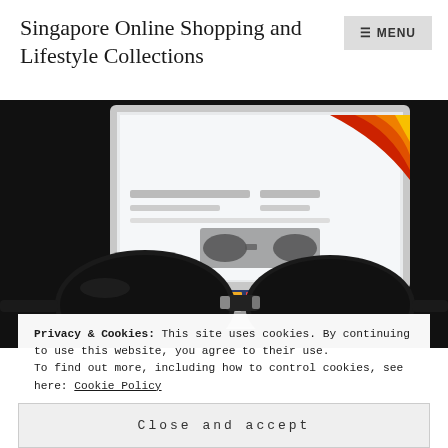Singapore Online Shopping and Lifestyle Collections
[Figure (photo): Photo of black sunglasses resting on a laptop keyboard in front of a monitor displaying an online shopping website with a colorful logo]
Privacy & Cookies: This site uses cookies. By continuing to use this website, you agree to their use.
To find out more, including how to control cookies, see here: Cookie Policy
Close and accept